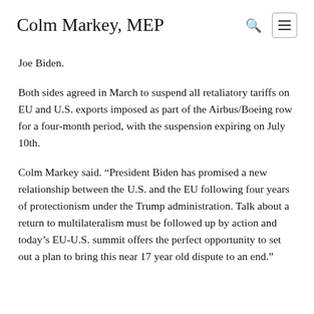Colm Markey, MEP
Joe Biden.
Both sides agreed in March to suspend all retaliatory tariffs on EU and U.S. exports imposed as part of the Airbus/Boeing row for a four-month period, with the suspension expiring on July 10th.
Colm Markey said. “President Biden has promised a new relationship between the U.S. and the EU following four years of protectionism under the Trump administration. Talk about a return to multilateralism must be followed up by action and today’s EU-U.S. summit offers the perfect opportunity to set out a plan to bring this near 17 year old dispute to an end.”